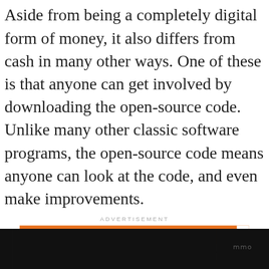Aside from being a completely digital form of money, it also differs from cash in many other ways. One of these is that anyone can get involved by downloading the open-source code. Unlike many other classic software programs, the open-source code means anyone can look at the code, and even make improvements.
ADVERTISEMENT
[Figure (other): Orange advertisement banner for No Kid Hungry with text 'You can help hungry kids.' and a 'LEARN HOW' button, with a close (X) button in the top right corner.]